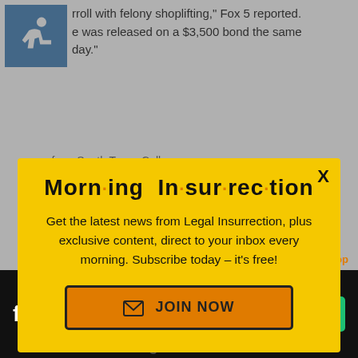rroll with felony shoplifting," Fox 5 reported. e was released on a $3,500 bond the same day."
[Figure (illustration): Blue accessibility icon (wheelchair symbol) in a blue square]
[Figure (screenshot): Morning Insurrection email subscription modal popup with yellow background. Title reads 'Morn·ing In·sur·rec·tion' with orange dots between syllables. Body text: 'Get the latest news from Legal Insurrection, plus exclusive content, direct to your inbox every morning. Subscribe today – it's free!' Orange JOIN NOW button with envelope icon. X close button top right.]
GET THE LATEST NEWS FROM LEGAL INSURRECTION
[Figure (screenshot): Fiverr advertisement banner at bottom with white fiverr logo on black background and green Start Now button. X close button above it. Back on Top link visible.]